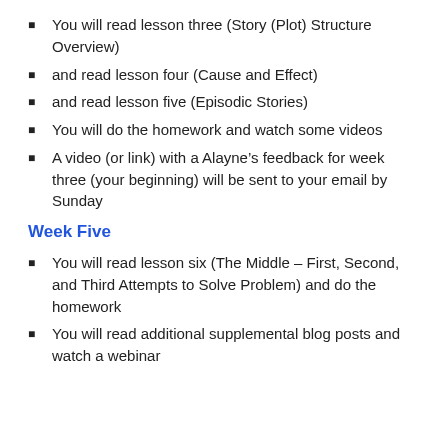You will read lesson three (Story (Plot) Structure Overview)
and read lesson four (Cause and Effect)
and read lesson five (Episodic Stories)
You will do the homework and watch some videos
A video (or link) with a Alayne’s feedback for week three (your beginning) will be sent to your email by Sunday
Week Five
You will read lesson six (The Middle – First, Second, and Third Attempts to Solve Problem) and do the homework
You will read additional supplemental blog posts and watch a webinar